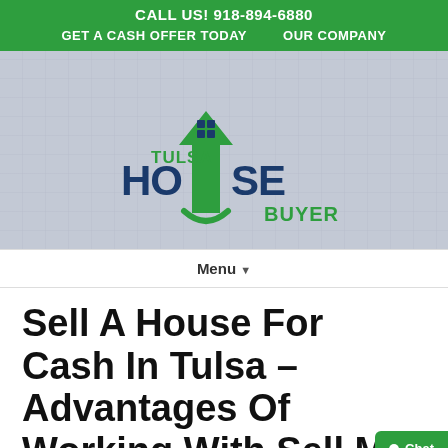CALL US! 918-894-6880
GET A CASH OFFER TODAY   OUR COMPANY
[Figure (logo): Tulsa House Buyer logo with green house/arrow icon and dark blue bold text reading TULSA HOUSE BUYER]
Menu ▾
Sell A House For Cash In Tulsa – Advantages Of Working With Sell My House Fast Tulsa